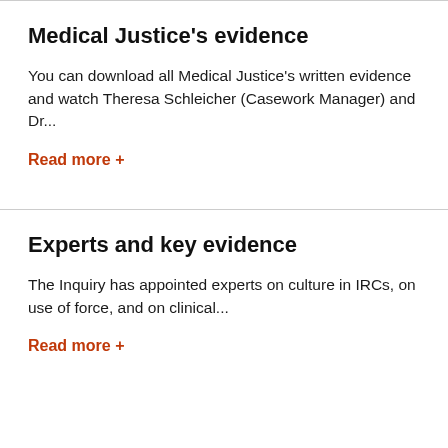Medical Justice's evidence
You can download all Medical Justice's written evidence and watch Theresa Schleicher (Casework Manager) and Dr...
Read more +
Experts and key evidence
The Inquiry has appointed experts on culture in IRCs, on use of force, and on clinical...
Read more +